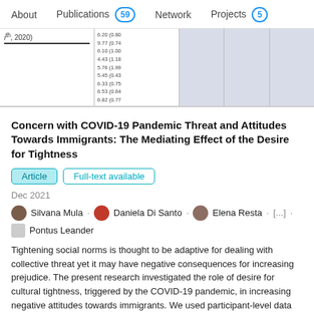About   Publications 59   Network   Projects 5
[Figure (table-as-image): Partial view of a table with numeric data. Left column shows 'ith, 2020)' label, second column shows numeric values like 6.20(0.80, 9.77(0.74, 6.10(1.00, 4.43(1.18, 5.76(1.99, 5.45(0.43, 6.33(0.75, 6.53(0.64, 6.82(0.77, 3.42(0.41. Remaining columns are grayed out.]
Concern with COVID-19 Pandemic Threat and Attitudes Towards Immigrants: The Mediating Effect of the Desire for Tightness
Article   Full-text available
Dec 2021
Silvana Mula · Daniela Di Santo · Elena Resta · [...] · Pontus Leander
Tightening social norms is thought to be adaptive for dealing with collective threat yet it may have negative consequences for increasing prejudice. The present research investigated the role of desire for cultural tightness, triggered by the COVID-19 pandemic, in increasing negative attitudes towards immigrants. We used participant-level data from...
View